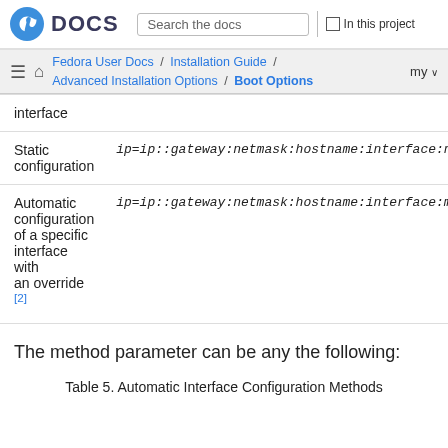Fedora DOCS | Search the docs | In this project
Fedora User Docs / Installation Guide / Advanced Installation Options / Boot Options | my
| Configuration type | Syntax |
| --- | --- |
| interface |  |
| Static configuration | ip=ip::gateway:netmask:hostname:interface:non |
| Automatic configuration of a specific interface with an override [2] | ip=ip::gateway:netmask:hostname:interface:met |
The method parameter can be any the following:
Table 5. Automatic Interface Configuration Methods